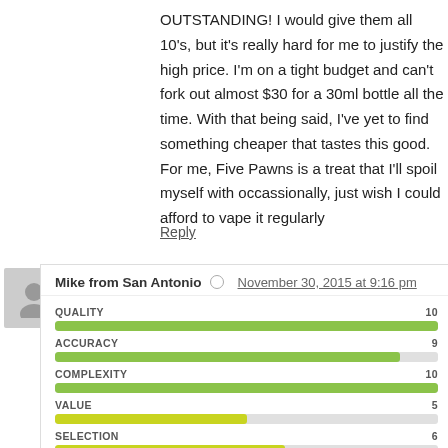OUTSTANDING! I would give them all 10's, but it's really hard for me to justify the high price. I'm on a tight budget and can't fork out almost $30 for a 30ml bottle all the time. With that being said, I've yet to find something cheaper that tastes this good. For me, Five Pawns is a treat that I'll spoil myself with occassionally, just wish I could afford to vape it regularly
Reply
Mike from San Antonio  November 30, 2015 at 9:16 pm
[Figure (bar-chart): Ratings]